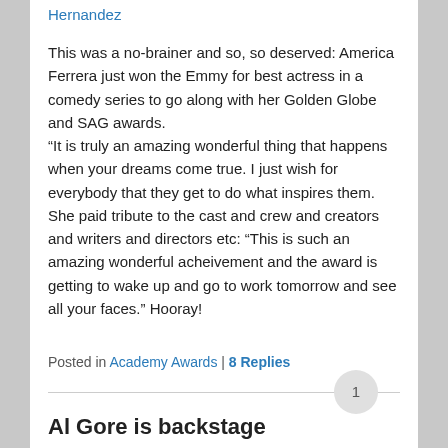Hernandez
This was a no-brainer and so, so deserved: America Ferrera just won the Emmy for best actress in a comedy series to go along with her Golden Globe and SAG awards.
“It is truly an amazing wonderful thing that happens when your dreams come true. I just wish for everybody that they get to do what inspires them.
She paid tribute to the cast and crew and creators and writers and directors etc: “This is such an amazing wonderful acheivement and the award is getting to wake up and go to work tomorrow and see all your faces.” Hooray!
Posted in Academy Awards | 8 Replies
Al Gore is backstage